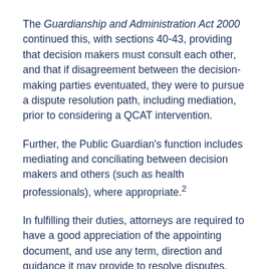The Guardianship and Administration Act 2000 continued this, with sections 40-43, providing that decision makers must consult each other, and that if disagreement between the decision-making parties eventuated, they were to pursue a dispute resolution path, including mediation, prior to considering a QCAT intervention.
Further, the Public Guardian's function includes mediating and conciliating between decision makers and others (such as health professionals), where appropriate.2
In fulfilling their duties, attorneys are required to have a good appreciation of the appointing document, and use any term, direction and guidance it may provide to resolve disputes. Decision makers should inform themselves of decision-making principles contained in